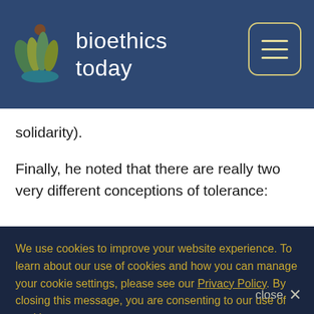bioethics today
solidarity).
Finally, he noted that there are really two very different conceptions of tolerance:
We use cookies to improve your website experience. To learn about our use of cookies and how you can manage your cookie settings, please see our Privacy Policy. By closing this message, you are consenting to our use of cookies.